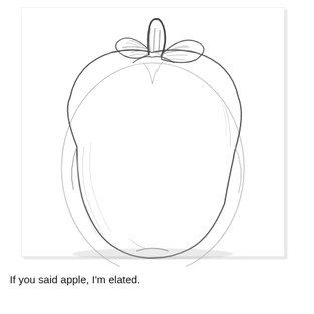[Figure (illustration): Pencil sketch drawing of an apple viewed from slightly above, showing the stem, two leaves, and the rounded body of the apple with light shading to indicate volume and form. The drawing is in grayscale on a white background with a faint rectangular border shadow.]
If you said apple, I'm elated.